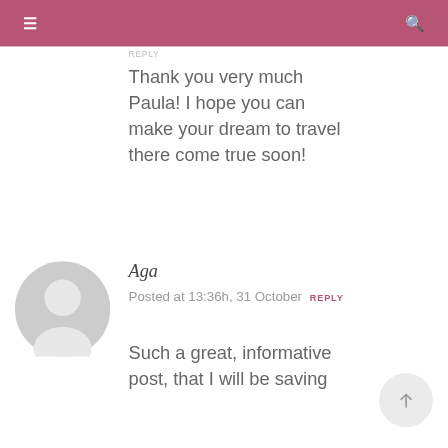≡  [search icon]
REPLY
Thank you very much Paula! I hope you can make your dream to travel there come true soon!
[Figure (illustration): Generic grey avatar/profile placeholder icon showing silhouette of a person in a circle]
Aga
Posted at 13:36h, 31 October REPLY
Such a great, informative post, that I will be saving